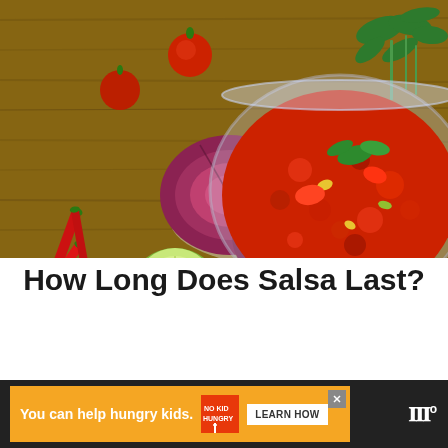[Figure (photo): Photo of a glass bowl filled with fresh salsa, surrounded by cherry tomatoes, red chili peppers, halved limes, quartered red onion, a garlic bulb, and fresh cilantro on a wooden surface.]
How Long Does Salsa Last?
[Figure (infographic): Advertisement banner: dark background with orange ad box reading 'You can help hungry kids.' with No Kid Hungry logo, a LEARN HOW button, and a close (X) button. Right side shows stylized W degree symbol (website logo).]